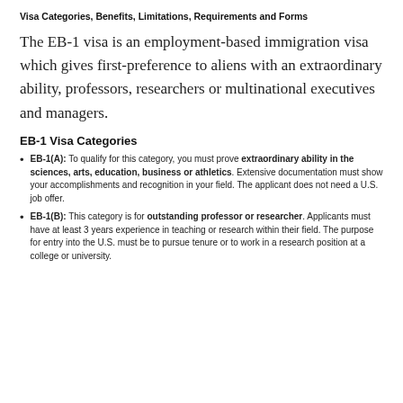Visa Categories, Benefits, Limitations, Requirements and Forms
The EB-1 visa is an employment-based immigration visa which gives first-preference to aliens with an extraordinary ability, professors, researchers or multinational executives and managers.
EB-1 Visa Categories
EB-1(A): To qualify for this category, you must prove extraordinary ability in the sciences, arts, education, business or athletics. Extensive documentation must show your accomplishments and recognition in your field. The applicant does not need a U.S. job offer.
EB-1(B): This category is for outstanding professor or researcher. Applicants must have at least 3 years experience in teaching or research within their field. The purpose for entry into the U.S. must be to pursue tenure or to work in a research position at a college or university.